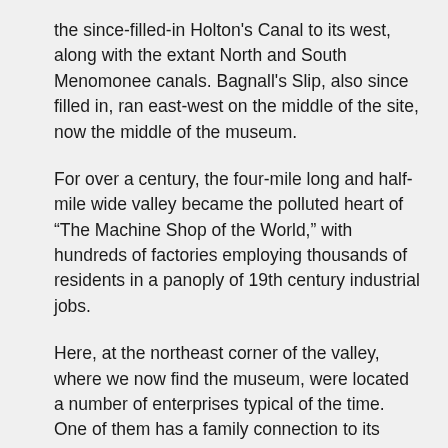the since-filled-in Holton's Canal to its west, along with the extant North and South Menomonee canals. Bagnall's Slip, also since filled in, ran east-west on the middle of the site, now the middle of the museum.
For over a century, the four-mile long and half-mile wide valley became the polluted heart of “The Machine Shop of the World,” with hundreds of factories employing thousands of residents in a panoply of 19th century industrial jobs.
Here, at the northeast corner of the valley, where we now find the museum, were located a number of enterprises typical of the time. One of them has a family connection to its current use.